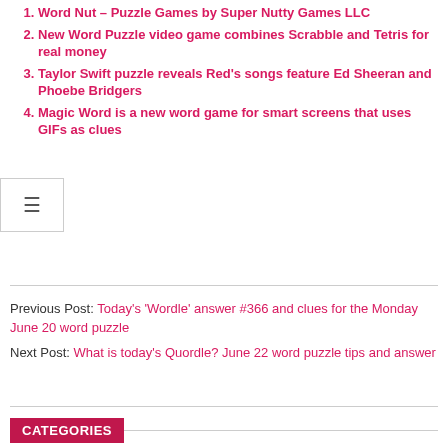1. Word Nut – Puzzle Games by Super Nutty Games LLC
2. New Word Puzzle video game combines Scrabble and Tetris for real money
3. Taylor Swift puzzle reveals Red's songs feature Ed Sheeran and Phoebe Bridgers
4. Magic Word is a new word game for smart screens that uses GIFs as clues
Previous Post: Today's 'Wordle' answer #366 and clues for the Monday June 20 word puzzle
Next Post: What is today's Quordle? June 22 word puzzle tips and answer
CATEGORIES